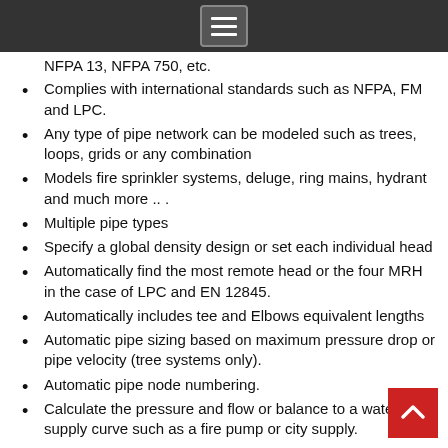Menu icon / navigation bar
NFPA 13, NFPA 750, etc.
Complies with international standards such as NFPA, FM and LPC.
Any type of pipe network can be modeled such as trees, loops, grids or any combination
Models fire sprinkler systems, deluge, ring mains, hydrant and much more .. .
Multiple pipe types
Specify a global density design or set each individual head
Automatically find the most remote head or the four MRH in the case of LPC and EN 12845.
Automatically includes tee and Elbows equivalent lengths
Automatic pipe sizing based on maximum pressure drop or pipe velocity (tree systems only).
Automatic pipe node numbering.
Calculate the pressure and flow or balance to a water supply curve such as a fire pump or city supply.